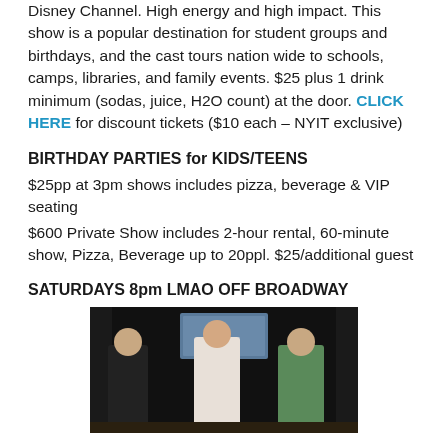Disney Channel. High energy and high impact. This show is a popular destination for student groups and birthdays, and the cast tours nation wide to schools, camps, libraries, and family events. $25 plus 1 drink minimum (sodas, juice, H2O count) at the door. CLICK HERE for discount tickets ($10 each – NYIT exclusive)
BIRTHDAY PARTIES for KIDS/TEENS
$25pp at 3pm shows includes pizza, beverage & VIP seating
$600 Private Show includes 2-hour rental, 60-minute show, Pizza, Beverage up to 20ppl. $25/additional guest
SATURDAYS 8pm LMAO OFF BROADWAY
[Figure (photo): Three performers on a dark stage. A sign or backdrop visible in the upper center. Left performer in dark clothing, center performer in light/white, right performer in green patterned shirt.]